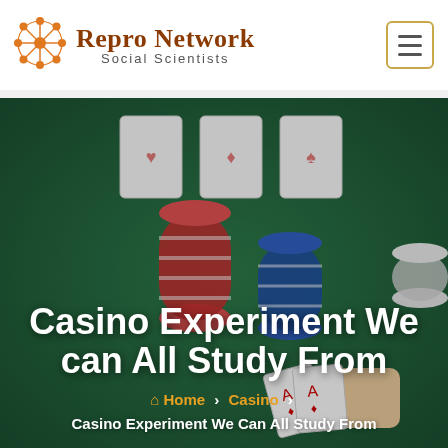Repro Network Social Scientists
[Figure (photo): Casino table with playing cards, red and blue poker chips stacked, and a hand holding playing cards on a green felt table. Overlay text reads 'Casino Experiment We can All Study From' with breadcrumb navigation showing Home > Casino > Casino Experiment We Can All Study From.]